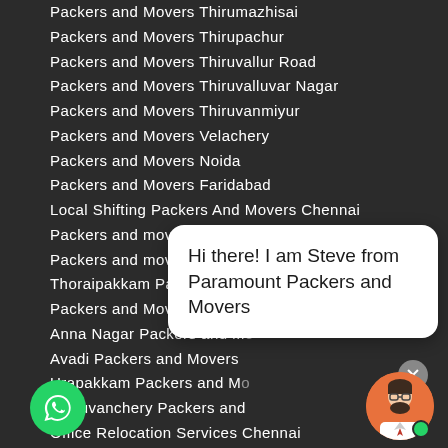Packers and Movers Thirumazhisai
Packers and Movers Thirupachur
Packers and Movers Thiruvallur Road
Packers and Movers Thiruvalluvar Nagar
Packers and Movers Thiruvanmiyur
Packers and Movers Velachery
Packers and Movers Noida
Packers and Movers Faridabad
Local Shifting Packers And Movers Chennai
Packers and movers chennai to delhi
Packers and movers Delhi to Chennai
Thoraipakkam Packers and Movers Chennai
Packers and Movers ECR Chennai
Anna Nagar Packers and Mo...
Avadi Packers and Movers ...
Urapakkam Packers and Mo...
Guduvanchery Packers and...
Office Relocation Services Chennai
Shifting In Chennai
Old Goods Shifting Chennai
Packers And Movers Madurai
Packers and Movers Kancheepuram
Hi there! I am Steve from Paramount Packers and Movers